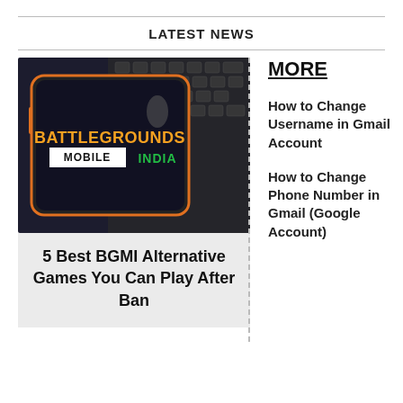LATEST NEWS
[Figure (photo): A smartphone displaying the Battlegrounds Mobile India (BGMI) logo on a dark screen, placed on a laptop keyboard.]
5 Best BGMI Alternative Games You Can Play After Ban
MORE
How to Change Username in Gmail Account
How to Change Phone Number in Gmail (Google Account)